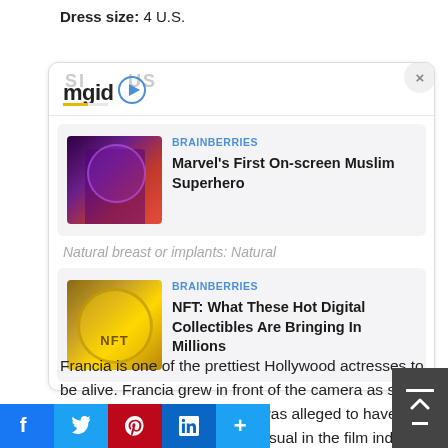Dress size: 4 U.S.
[Figure (screenshot): MGID ad widget showing two sponsored article cards: 1) 'Marvel's First On-screen Muslim Superhero' from BRAINBERRIES with a superhero image, 2) 'NFT: What These Hot Digital Collectibles Are Bringing In Millions' from BRAINBERRIES with a gold NFT coin image. Widget has close button and mgid logo.]
Natural breast or implants: Natural
Francia is one of the prettiest Hollywood actresses to be alive. Francia grew in front of the camera as she started her career early. She was alleged to have plastic surgery, which is very usual in the film industry.
[Figure (screenshot): Social sharing bar with Facebook, Twitter, Pinterest, LinkedIn, and More (+) buttons]